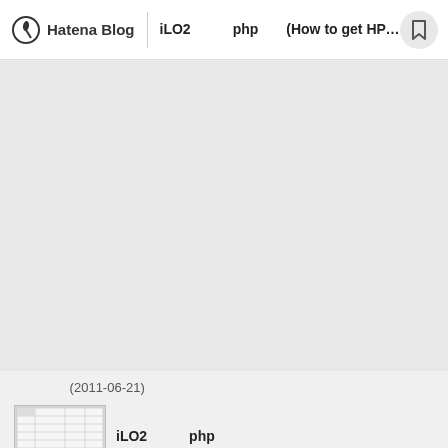Hatena Blog  iLO2からphpで(How to get HP iLO's...
日付 (2011-06-21)
[Figure (screenshot): Small thumbnail screenshot of a table/spreadsheet]
iLO2からphpで情報取得してみた